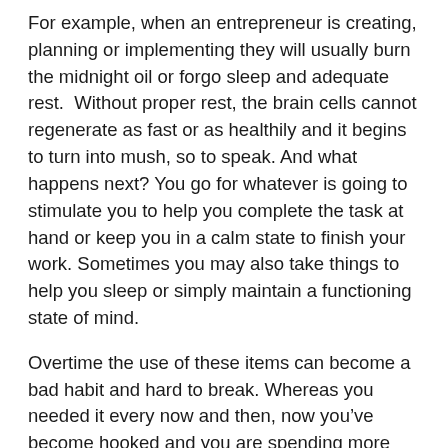For example, when an entrepreneur is creating, planning or implementing they will usually burn the midnight oil or forgo sleep and adequate rest.  Without proper rest, the brain cells cannot regenerate as fast or as healthily and it begins to turn into mush, so to speak. And what happens next? You go for whatever is going to stimulate you to help you complete the task at hand or keep you in a calm state to finish your work. Sometimes you may also take things to help you sleep or simply maintain a functioning state of mind.
Overtime the use of these items can become a bad habit and hard to break. Whereas you needed it every now and then, now you’ve become hooked and you are spending more money on it and requiring larger amounts to meet your needs.
We’ve seen this in alcohol and substance abuse but sex and food also creates the same stimulation as the above mentioned items and when overused they can be just as deadly. You’re probably thinking how can sex and food be just as deadly?  Sometimes overuse of sex is like never getting enough of sex. Such behavior can cause illicit sex, it can cause one to seek multiple sex partners outside the relationship, b…